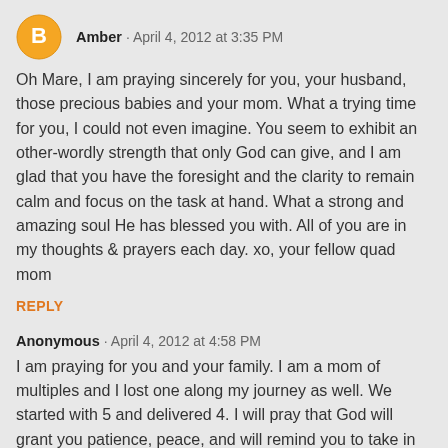Amber · April 4, 2012 at 3:35 PM
Oh Mare, I am praying sincerely for you, your husband, those precious babies and your mom. What a trying time for you, I could not even imagine. You seem to exhibit an other-wordly strength that only God can give, and I am glad that you have the foresight and the clarity to remain calm and focus on the task at hand. What a strong and amazing soul He has blessed you with. All of you are in my thoughts & prayers each day. xo, your fellow quad mom
REPLY
Anonymous · April 4, 2012 at 4:58 PM
I am praying for you and your family. I am a mom of multiples and I lost one along my journey as well. We started with 5 and delivered 4. I will pray that God will grant you patience, peace, and will remind you to take in all the blessings in your life.